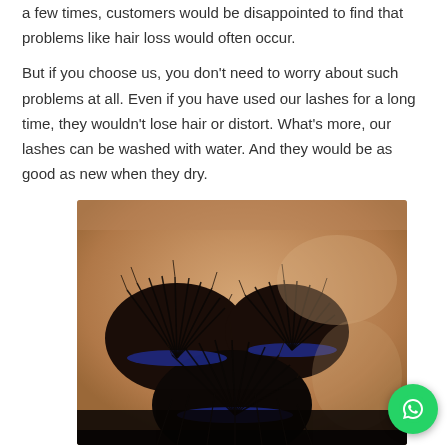a few times, customers would be disappointed to find that problems like hair loss would often occur.
But if you choose us, you don't need to worry about such problems at all. Even if you have used our lashes for a long time, they wouldn't lose hair or distort. What's more, our lashes can be washed with water. And they would be as good as new when they dry.
[Figure (photo): A hand holding three circular false eyelash sets with dramatic, voluminous black lashes fanned out, displayed on a person's palm. A WhatsApp contact button appears in the bottom-right corner.]